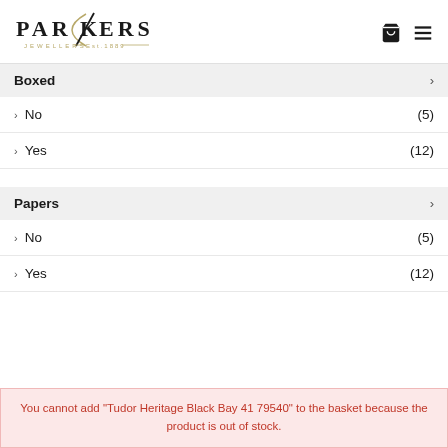[Figure (logo): Parkers Jewellers logo with stylized K and Est. 1889 text]
Boxed
> No (5)
> Yes (12)
Papers
> No (5)
> Yes (12)
You cannot add "Tudor Heritage Black Bay 41 79540" to the basket because the product is out of stock.